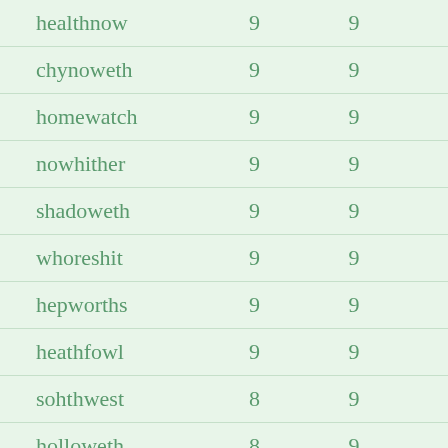| healthnow | 9 | 9 |
| chynoweth | 9 | 9 |
| homewatch | 9 | 9 |
| nowhither | 9 | 9 |
| shadoweth | 9 | 9 |
| whoreshit | 9 | 9 |
| hepworths | 9 | 9 |
| heathfowl | 9 | 9 |
| sohthwest | 8 | 9 |
| holloweth | 8 | 9 |